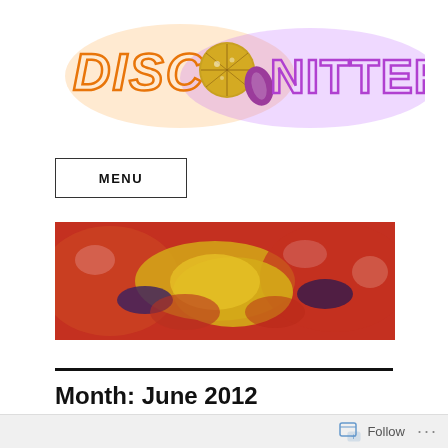[Figure (logo): Disco Knitter logo with orange retro DISCO text and purple KNITTER text, with a disco ball and a yarn skein graphic, glowing on white background]
MENU
[Figure (photo): Wide banner photo of colorful felted or dyed wool fabric in shades of red, orange, yellow, and dark purple/blue]
Month: June 2012
Follow ...